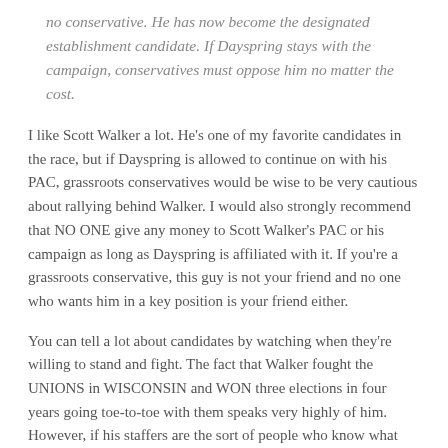no conservative. He has now become the designated establishment candidate. If Dayspring stays with the campaign, conservatives must oppose him no matter the cost.
I like Scott Walker a lot. He's one of my favorite candidates in the race, but if Dayspring is allowed to continue on with his PAC, grassroots conservatives would be wise to be very cautious about rallying behind Walker. I would also strongly recommend that NO ONE give any money to Scott Walker's PAC or his campaign as long as Dayspring is affiliated with it. If you're a grassroots conservative, this guy is not your friend and no one who wants him in a key position is your friend either.
You can tell a lot about candidates by watching when they're willing to stand and fight. The fact that Walker fought the UNIONS in WISCONSIN and WON three elections in four years going toe-to-toe with them speaks very highly of him. However, if his staffers are the sort of people who know what they're getting with Dayspring and are willing to lose the support of a lot of grassroots conservatives to keep him on board, that tells